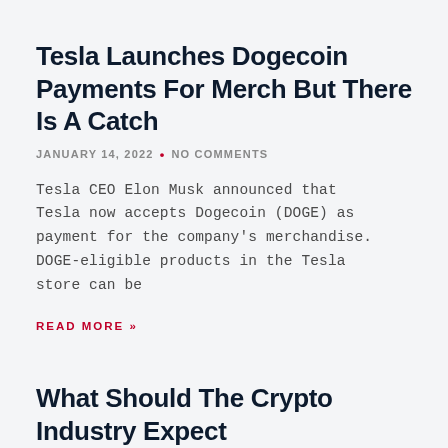Tesla Launches Dogecoin Payments For Merch But There Is A Catch
JANUARY 14, 2022 • NO COMMENTS
Tesla CEO Elon Musk announced that Tesla now accepts Dogecoin (DOGE) as payment for the company's merchandise. DOGE-eligible products in the Tesla store can be
READ MORE »
What Should The Crypto Industry Expect